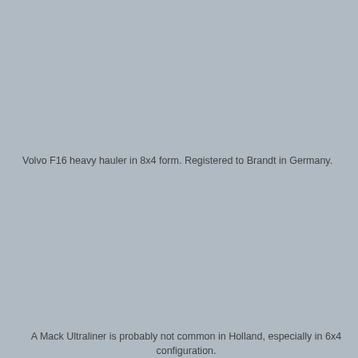[Figure (photo): Upper portion of the page showing a large grey/blank image area representing a Volvo F16 heavy hauler in 8x4 form registered to Brandt in Germany.]
Volvo F16 heavy hauler in 8x4 form. Registered to Brandt in Germany.
[Figure (photo): Lower portion of the page showing a large grey/blank image area representing a Mack Ultraliner in 6x4 configuration in Holland.]
A Mack Ultraliner is probably not common in Holland, especially in 6x4 configuration.